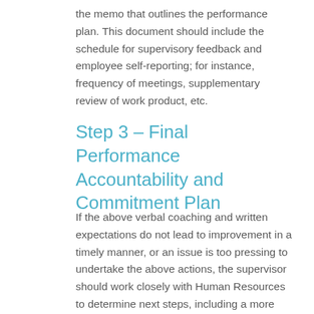the memo that outlines the performance plan. This document should include the schedule for supervisory feedback and employee self-reporting; for instance, frequency of meetings, supplementary review of work product, etc.
Step 3 – Final Performance Accountability and Commitment Plan
If the above verbal coaching and written expectations do not lead to improvement in a timely manner, or an issue is too pressing to undertake the above actions, the supervisor should work closely with Human Resources to determine next steps, including a more time-specific written document about consequences, up to and including termination of employment. The document should state the problem(s), options, expectations, timeframe for assessment and consequences, etc.